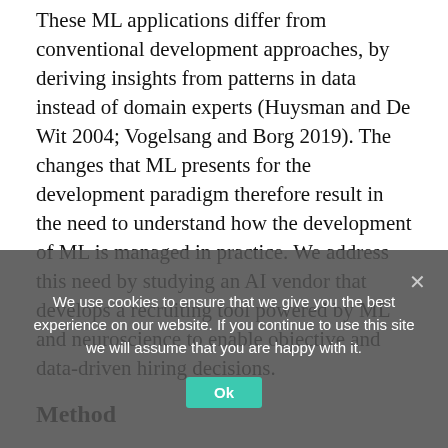These ML applications differ from conventional development approaches, by deriving insights from patterns in data instead of domain experts (Huysman and De Wit 2004; Vogelsang and Borg 2019). The changes that ML presents for the development paradigm therefore result in the need to understand how the development of ML is managed in practice. We address this need by studying an AI vendor that develops a recruiting tool powered by ML and neuroscience to enable objective and data-driven hiring decisions.
Method
We conducted a 19-month field study of an AI vendor in Europe, NeuroToo (pseudonym), that develops an AI recruiting application to assist HR managers in making hiring decisions. The application was supported by machine learning (ML), which refers to a broad set of techniques that can adapt
We use cookies to ensure that we give you the best experience on our website. If you continue to use this site we will assume that you are happy with it.